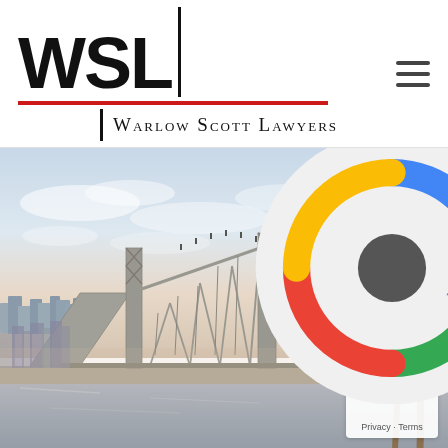[Figure (logo): Warlow Scott Lawyers logo with WSL text, vertical bar, red horizontal line, and firm name in small caps]
[Figure (photo): Photograph of Story Bridge in Brisbane, Queensland, Australia, with the city skyline, river, palm trees and a modern glass building in the background. Warm pastel sky with clouds.]